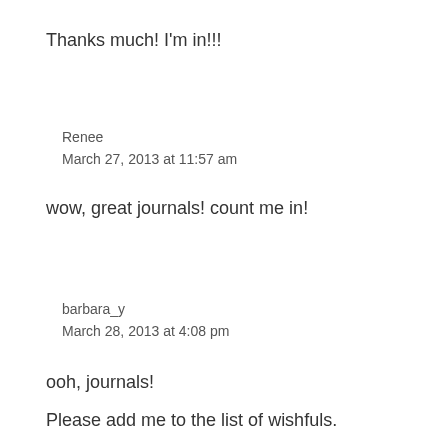Thanks much! I'm in!!!
Renee
March 27, 2013 at 11:57 am
wow, great journals! count me in!
barbara_y
March 28, 2013 at 4:08 pm
ooh, journals!
Please add me to the list of wishfuls.